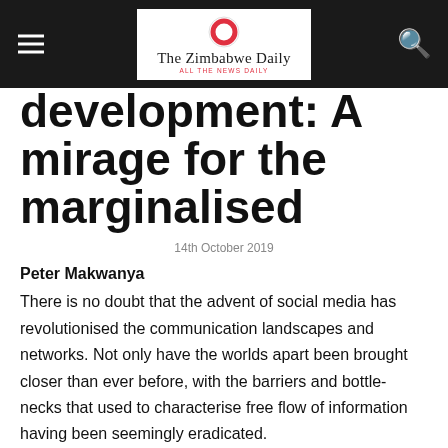The Zimbabwe Daily
development: A mirage for the marginalised
14th October 2019
Peter Makwanya
There is no doubt that the advent of social media has revolutionised the communication landscapes and networks. Not only have the worlds apart been brought closer than ever before, with the barriers and bottle-necks that used to characterise free flow of information having been seemingly eradicated.
In a split second, through Twitter, Facebook, microblogging,